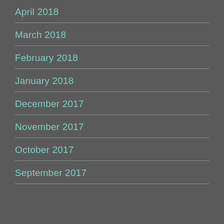April 2018
March 2018
February 2018
January 2018
December 2017
November 2017
October 2017
September 2017